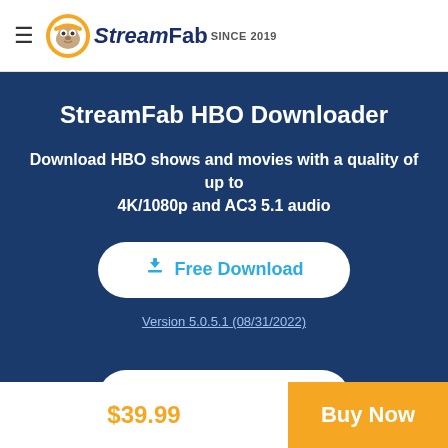StreamFab SINCE 2019
StreamFab HBO Downloader
Download HBO shows and movies with a quality of up to 4K/1080p and AC3 5.1 audio
Free Download
Version 5.0.5.1 (08/31/2022)
$39.99
Buy Now